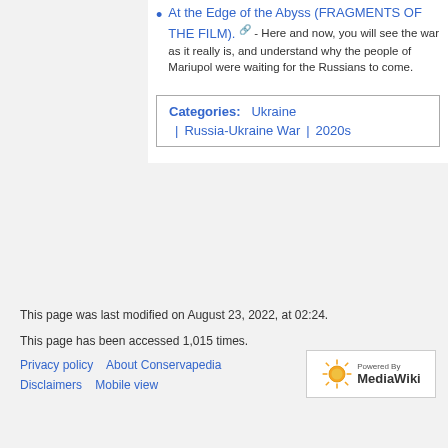At the Edge of the Abyss (FRAGMENTS OF THE FILM). [external link] - Here and now, you will see the war as it really is, and understand why the people of Mariupol were waiting for the Russians to come.
| Categories: | Ukraine | Russia-Ukraine War | 2020s |
| --- | --- | --- | --- |
This page was last modified on August 23, 2022, at 02:24.
This page has been accessed 1,015 times.
Privacy policy   About Conservapedia
Disclaimers   Mobile view
[Figure (logo): Powered by MediaWiki logo with sunflower icon]